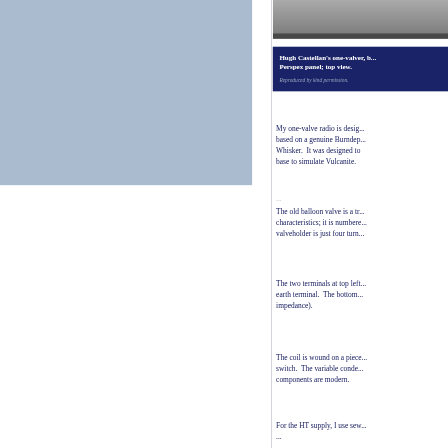[Figure (photo): Top portion of a photo of Hugh Castellan's one-valve radio with Perspex panel, top view]
Hugh Castellan's one-valver, b... Perspex panel; top view.

Reproduced by kind permission.
My one-valve radio is desig... based on a genuine Burndep... Whisker. It was designed to base to simulate Vulcanite.
The old balloon valve is a tr... characteristics; it is numbere... valveholder is just four turn...
The two terminals at top left... earth terminal. The bottom... impedance).
The coil is wound on a piece... switch. The variable conde... components are modern.
For the HT supply, I use sew...